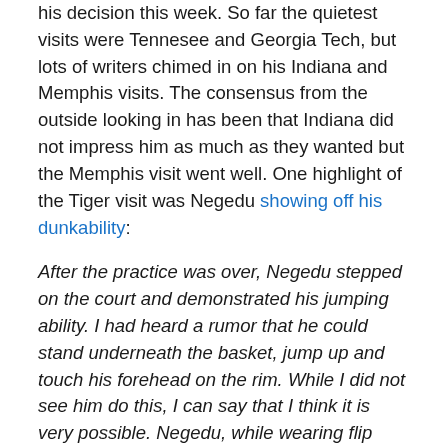his decision this week. So far the quietest visits were Tennesee and Georgia Tech, but lots of writers chimed in on his Indiana and Memphis visits. The consensus from the outside looking in has been that Indiana did not impress him as much as they wanted but the Memphis visit went well. One highlight of the Tiger visit was Negedu showing off his dunkability:
After the practice was over, Negedu stepped on the court and demonstrated his jumping ability. I had heard a rumor that he could stand underneath the basket, jump up and touch his forehead on the rim. While I did not see him do this, I can say that I think it is very possible. Negedu, while wearing flip flops, showed off a variety of windmill and backwards dunks.
Okay, flip-flops? I am equally impressed and worried that he would slip and fall, probably tearing his ACL in a